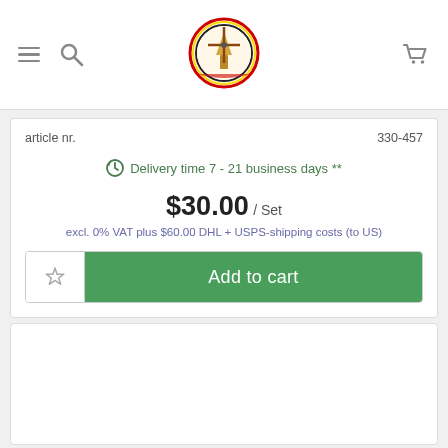[Figure (logo): Website navigation bar with hamburger menu icon on the left, a circular windmill logo in the center with red/gold/black border, and a shopping cart icon on the right]
article nr.	330-457
Delivery time 7 - 21 business days **
$30.00 / Set
excl. 0% VAT plus $60.00 DHL + USPS-shipping costs (to US)
Add to cart